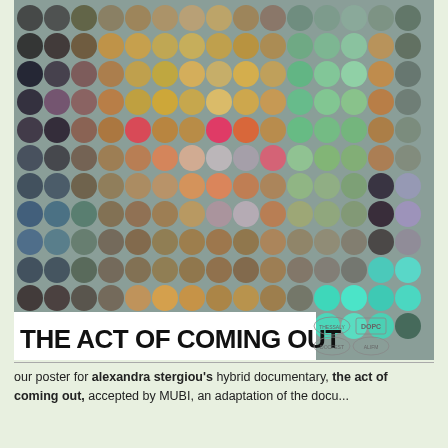[Figure (illustration): Movie poster for 'The Act of Coming Out' featuring a large grid of colorful overlapping circles in various hues (orange, brown, green, blue, purple, pink, teal, grey) on a grey-green background. Bold black text at the bottom reads 'THE ACT OF COMING OUT' with festival laurel badges in the upper right corner of the text area.]
our poster for alexandra stergiou's hybrid documentary, the act of coming out, accepted by MUBI, an adaptation of the docu...